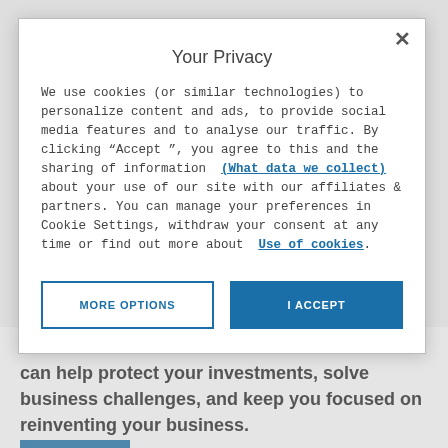...Discover the many ways IBM and Avise services can help protect your investments, solve business challenges, and keep you focused on reinventing your business.
Your Privacy
We use cookies (or similar technologies) to personalize content and ads, to provide social media features and to analyse our traffic. By clicking "Accept ", you agree to this and the sharing of information (What data we collect) about your use of our site with our affiliates & partners. You can manage your preferences in Cookie Settings, withdraw your consent at any time or find out more about Use of cookies.
MORE OPTIONS
I ACCEPT